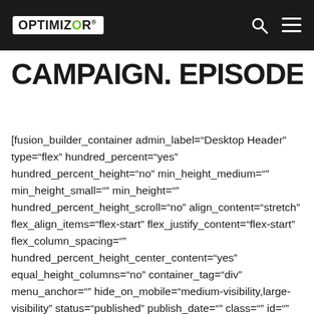OPTIMIZOR
CAMPAIGN. EPISODE 1
[fusion_builder_container admin_label="Desktop Header" type="flex" hundred_percent="yes" hundred_percent_height="no" min_height_medium="" min_height_small="" min_height="" hundred_percent_height_scroll="no" align_content="stretch" flex_align_items="flex-start" flex_justify_content="flex-start" flex_column_spacing="" hundred_percent_height_center_content="yes" equal_height_columns="no" container_tag="div" menu_anchor="" hide_on_mobile="medium-visibility,large-visibility" status="published" publish_date="" class="" id="" margin_top_medium="" margin_bottom_medium="" margin_top_small="" margin_bottom_small="" margin_top="" margin_bottom=""